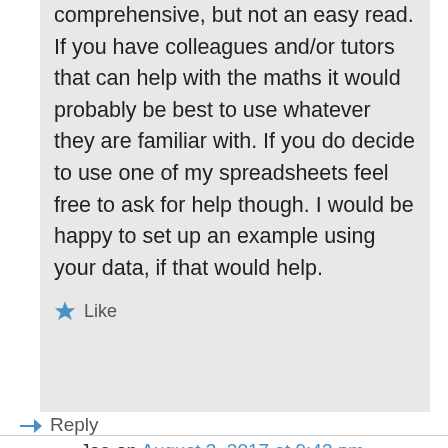comprehensive, but not an easy read. If you have colleagues and/or tutors that can help with the maths it would probably be best to use whatever they are familiar with. If you do decide to use one of my spreadsheets feel free to ask for help though. I would be happy to set up an example using your data, if that would help.
Like
Reply
Joe on August 3, 2017 at 9:43 pm